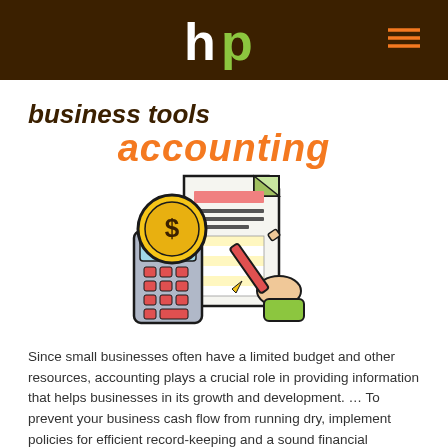hp
business tools
accounting
[Figure (illustration): Accounting illustration showing a calculator with a gold coin displaying a dollar sign, and a hand holding a pencil writing on a document/ledger with colored rows.]
Since small businesses often have a limited budget and other resources, accounting plays a crucial role in providing information that helps businesses in its growth and development. … To prevent your business cash flow from running dry, implement policies for efficient record-keeping and a sound financial strategy.